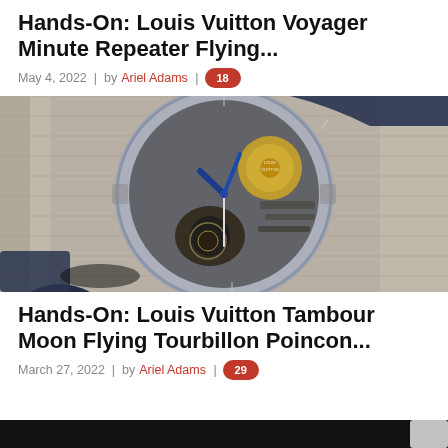Hands-On: Louis Vuitton Voyager Minute Repeater Flying...
May 4, 2022 | by Ariel Adams | 18
[Figure (photo): Close-up photo of a Louis Vuitton Voyager Minute Repeater Flying tourbillon watch with transparent sapphire case, blue hands and strap, exposed mechanical movement with gold rotor, lying on a woven fabric surface.]
Hands-On: Louis Vuitton Tambour Moon Flying Tourbillon Poincon...
March 27, 2022 | by Ariel Adams | 29
[Figure (photo): Bottom strip of dark/black image, beginning of another watch article image cropped at page bottom.]